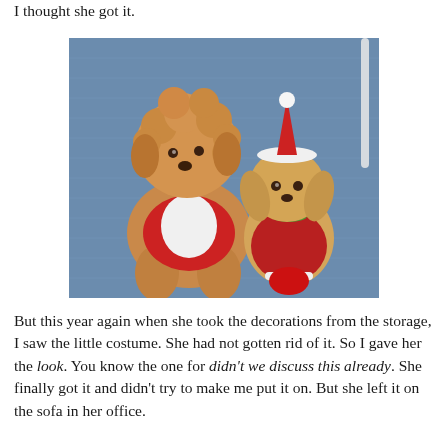I thought she got it.
[Figure (photo): A curly-haired apricot poodle wearing a red and white Santa costume sitting next to a plush stuffed dog toy wearing a Santa hat, both on a blue denim background.]
But this year again when she took the decorations from the storage, I saw the little costume. She had not gotten rid of it. So I gave her the look. You know the one for didn't we discuss this already. She finally got it and didn't try to make me put it on. But she left it on the sofa in her office.